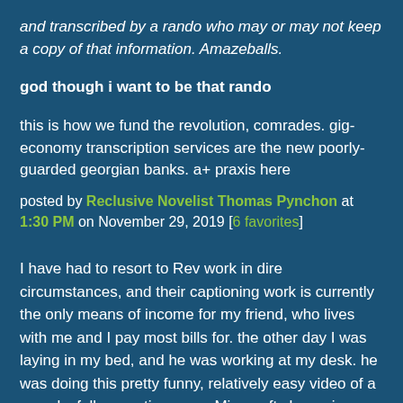and transcribed by a rando who may or may not keep a copy of that information. Amazeballs.
god though i want to be that rando
this is how we fund the revolution, comrades. gig-economy transcription services are the new poorly-guarded georgian banks. a+ praxis here
posted by Reclusive Novelist Thomas Pynchon at 1:30 PM on November 29, 2019 [6 favorites]
I have had to resort to Rev work in dire circumstances, and their captioning work is currently the only means of income for my friend, who lives with me and I pay most bills for. the other day I was laying in my bed, and he was working at my desk. he was doing this pretty funny, relatively easy video of a guy playfully narrating some Minecraft shenanigans. This is the kind of project that's perfect - there's only one